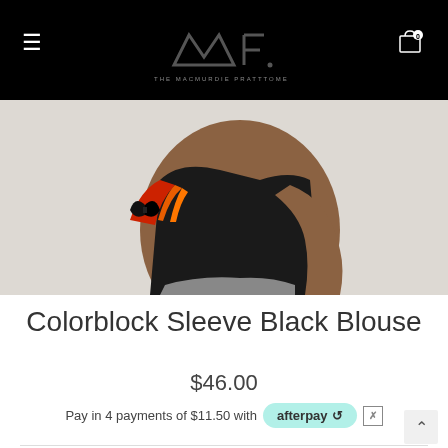THE MACMURDIE PRATTTOME (logo/header nav)
[Figure (photo): Close-up photo of a model wearing a colorblock sleeve black blouse with red, orange stripes and a black bow tie detail, against a light background]
Colorblock Sleeve Black Blouse
$46.00
Pay in 4 payments of $11.50 with afterpay